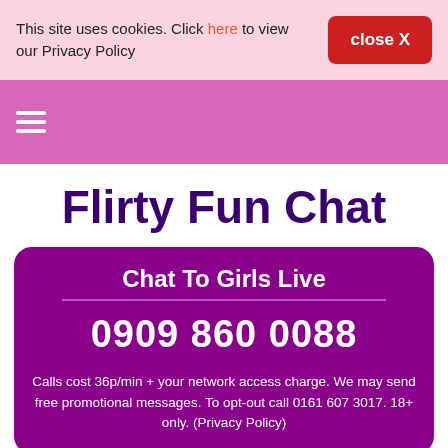This site uses cookies. Click here to view our Privacy Policy
close X
[Figure (other): Hamburger menu icon with three white horizontal lines on pink background]
Flirty Fun Chat
Chat To Girls Live
0909 860 0088
Calls cost 36p/min + your network access charge. We may send free promotional messages. To opt-out call 0161 607 3017. 18+ only. (Privacy Policy)